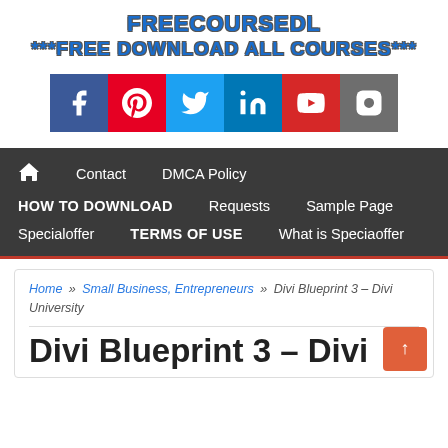FREECOURSEDL
***FREE DOWNLOAD ALL COURSES***
[Figure (infographic): Social media icons row: Facebook (blue), Pinterest (red), Twitter (teal), LinkedIn (blue), YouTube (red), Instagram (gray)]
Contact   DMCA Policy   HOW TO DOWNLOAD   Requests   Sample Page   Specialoffer   TERMS OF USE   What is Speciaoffer
Home » Small Business, Entrepreneurs » Divi Blueprint 3 – Divi University
Divi Blueprint 3 - Divi